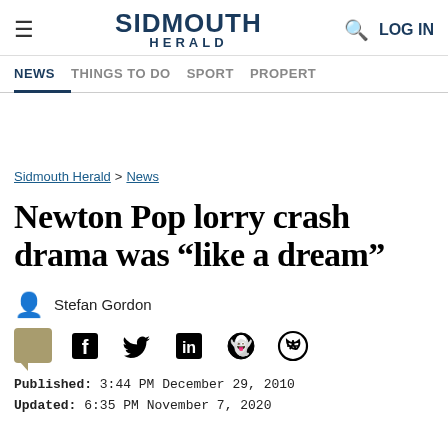SIDMOUTH HERALD | LOG IN
NEWS | THINGS TO DO | SPORT | PROPERTY
Sidmouth Herald > News
Newton Pop lorry crash drama was “like a dream”
Stefan Gordon
Published: 3:44 PM December 29, 2010
Updated: 6:35 PM November 7, 2020